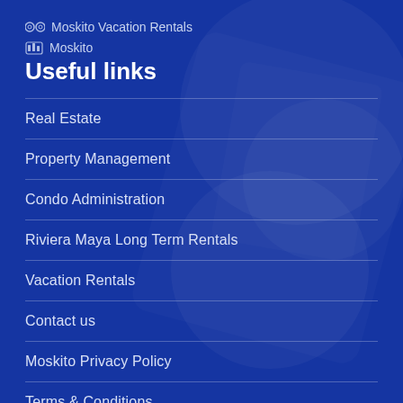⊙⊙ Moskito Vacation Rentals
▦ Moskito
Useful links
Real Estate
Property Management
Condo Administration
Riviera Maya Long Term Rentals
Vacation Rentals
Contact us
Moskito Privacy Policy
Terms & Conditions
Contact Info